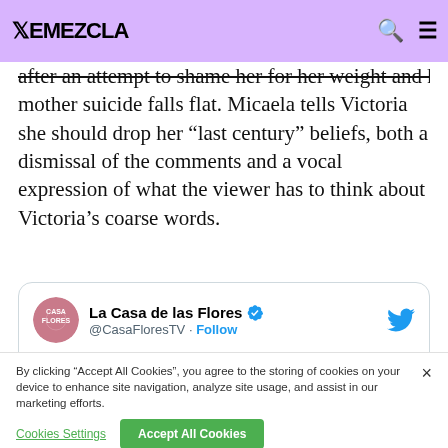REMEZCLA
after an attempt to shame her for her weight and her mother suicide falls flat. Micaela tells Victoria she should drop her “last century” beliefs, both a dismissal of the comments and a vocal expression of what the viewer has to think about Victoria’s coarse words.
[Figure (screenshot): Embedded tweet from @CasaFloresTV (La Casa de las Flores) with verified badge and Follow link. Tweet text begins: Fue un placer aprender juntos a amar con]
By clicking “Accept All Cookies”, you agree to the storing of cookies on your device to enhance site navigation, analyze site usage, and assist in our marketing efforts.
Cookies Settings   Accept All Cookies